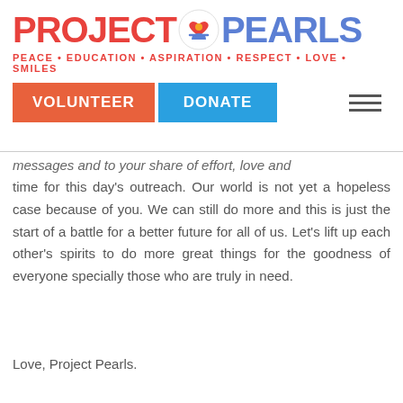[Figure (logo): Project Pearls logo with red 'PROJECT', icon in center, blue 'PEARLS' text, and red tagline 'PEACE · EDUCATION · ASPIRATION · RESPECT · LOVE · SMILES']
[Figure (infographic): Navigation bar with orange VOLUNTEER button, blue DONATE button, and hamburger menu icon]
messages and to your share of effort, love and time for this day's outreach. Our world is not yet a hopeless case because of you. We can still do more and this is just the start of a battle for a better future for all of us. Let's lift up each other's spirits to do more great things for the goodness of everyone specially those who are truly in need.
Love, Project Pearls.